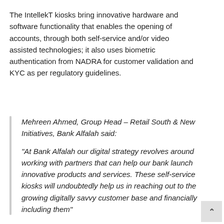The IntellekT kiosks bring innovative hardware and software functionality that enables the opening of accounts, through both self-service and/or video assisted technologies; it also uses biometric authentication from NADRA for customer validation and KYC as per regulatory guidelines.
Mehreen Ahmed, Group Head – Retail South & New Initiatives, Bank Alfalah said:

"At Bank Alfalah our digital strategy revolves around working with partners that can help our bank launch innovative products and services. These self-service kiosks will undoubtedly help us in reaching out to the growing digitally savvy customer base and financially including them"